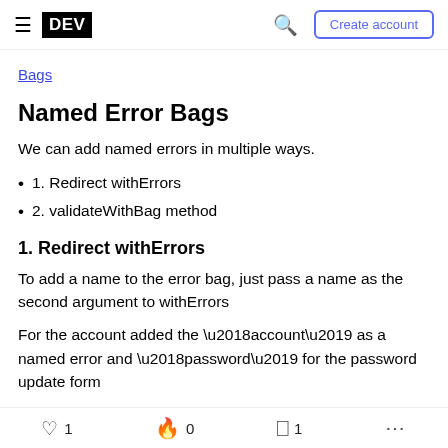DEV | Create account
Bags
Named Error Bags
We can add named errors in multiple ways.
1. Redirect withErrors
2. validateWithBag method
1. Redirect withErrors
To add a name to the error bag, just pass a name as the second argument to withErrors
For the account added the ‘account’ as a named error and ‘password’ for the password update form
1  0  1  ...